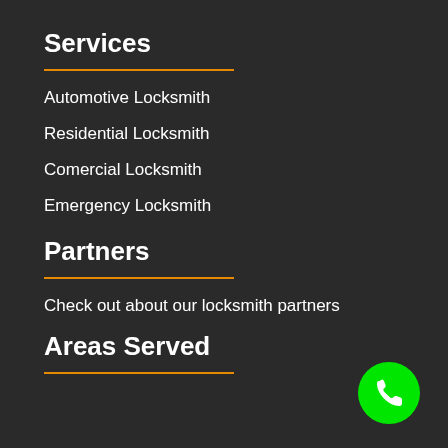Services
Automotive Locksmith
Residential Locksmith
Comercial Locksmith
Emergency Locksmith
Partners
Check out about our locksmith partners
Areas Served
[Figure (other): Green circular phone call button in bottom right corner]